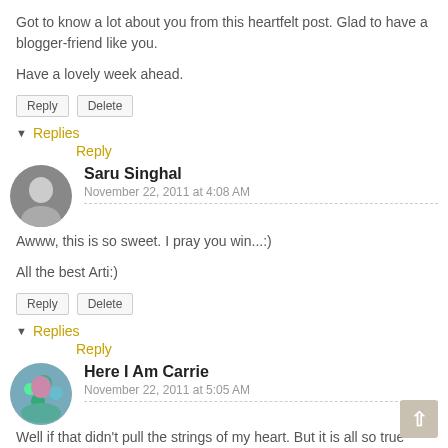Got to know a lot about you from this heartfelt post. Glad to have a blogger-friend like you.
Have a lovely week ahead.
▼ Replies
Reply
Saru Singhal
November 22, 2011 at 4:08 AM
Awww, this is so sweet. I pray you win...:)
All the best Arti:)
▼ Replies
Reply
Here I Am Carrie
November 22, 2011 at 5:05 AM
Well if that didn't pull the strings of my heart. But it is all so true about many of us. I have a few friends who don't have internet so I